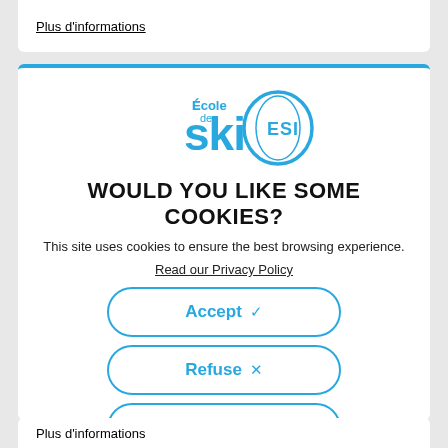Plus d'informations
[Figure (logo): École de SKI ESI logo in blue]
WOULD YOU LIKE SOME COOKIES?
This site uses cookies to ensure the best browsing experience.
Read our Privacy Policy
Accept ✓
Refuse ×
Setting up
Plus d'informations